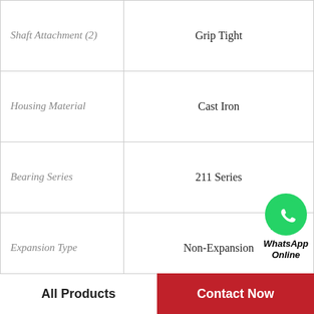| Property | Value |
| --- | --- |
| Shaft Attachment (2) | Grip Tight |
| Housing Material | Cast Iron |
| Bearing Series | 211 Series |
| Expansion Type | Non-Expansion |
| Bearing Bore Shape | Round |
| Bearing Insert Material | Steel |
| Flinger Type | Rubberized |
| Bearing Inner Ring Material | Steel |
[Figure (logo): WhatsApp Online green phone icon with bold italic text 'WhatsApp Online']
All Products
Contact Now